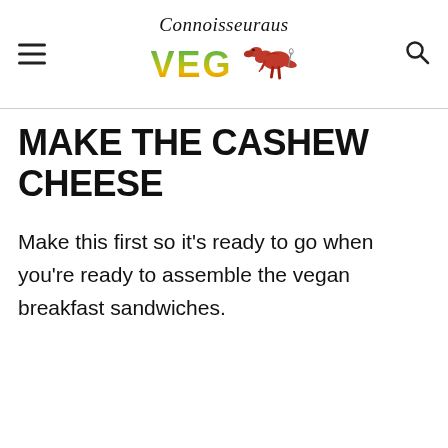Connoisseuraus VEG
MAKE THE CASHEW CHEESE
Make this first so it's ready to go when you're ready to assemble the vegan breakfast sandwiches.